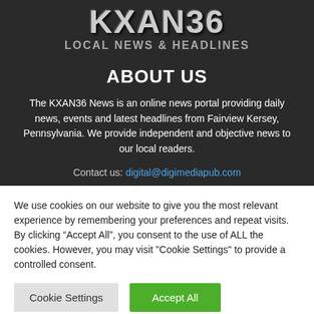[Figure (logo): KXAN36 logo with bold stylized text and LOCAL NEWS & HEADLINES subtitle]
ABOUT US
The KXAN36 News is an online news portal providing daily news, events and latest headlines from Fairview Kersey, Pennsylvania. We provide independent and objective news to our local readers.
Contact us: digital@digimediapub.com
We use cookies on our website to give you the most relevant experience by remembering your preferences and repeat visits. By clicking “Accept All”, you consent to the use of ALL the cookies. However, you may visit "Cookie Settings" to provide a controlled consent.